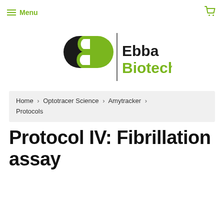Menu  [cart icon]
[Figure (logo): Ebba Biotech logo with stylized double-B monogram in black and green, vertical divider, and text 'Ebba Biotech' in black and green]
Home › Optotracer Science › Amytracker › Protocols
Protocol IV: Fibrillation assay